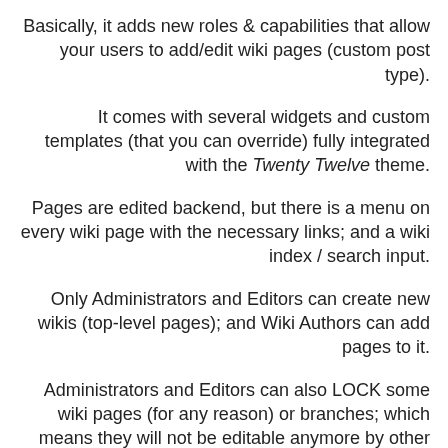Basically, it adds new roles & capabilities that allow your users to add/edit wiki pages (custom post type).
It comes with several widgets and custom templates (that you can override) fully integrated with the Twenty Twelve theme.
Pages are edited backend, but there is a menu on every wiki page with the necessary links; and a wiki index / search input.
Only Administrators and Editors can create new wikis (top-level pages); and Wiki Authors can add pages to it.
Administrators and Editors can also LOCK some wiki pages (for any reason) or branches; which means they will not be editable anymore by other users.
I voluntarily made the plugin quite simple to avoid over-complicating (there are better ones) and to stay